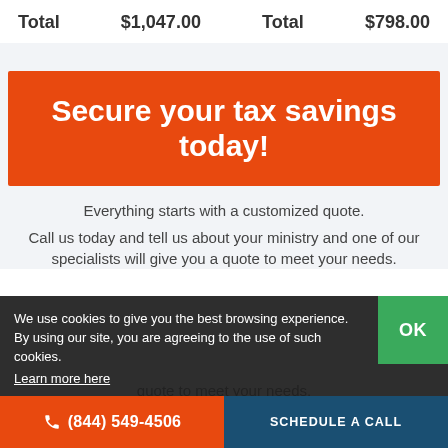| Total | $1,047.00 | Total | $798.00 |
Secure your tax savings today!
Everything starts with a customized quote.
Call us today and tell us about your ministry and one of our specialists will give you a quote to meet your needs.
We use cookies to give you the best browsing experience. By using our site, you are agreeing to the use of such cookies. Learn more here
(844) 549-4506   SCHEDULE A CALL